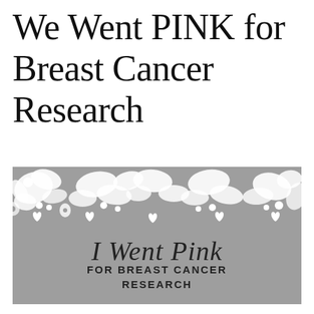We Went PINK for Breast Cancer Research
[Figure (illustration): Gray rectangular banner with white floral/botanical decorative border along the top edge, cursive text 'I Went Pink' in the center, and 'FOR BREAST CANCER RESEARCH' in capital letters below]